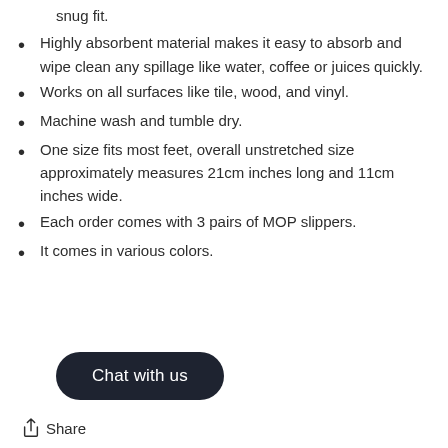snug fit.
Highly absorbent material makes it easy to absorb and wipe clean any spillage like water, coffee or juices quickly.
Works on all surfaces like tile, wood, and vinyl.
Machine wash and tumble dry.
One size fits most feet, overall unstretched size approximately measures 21cm inches long and 11cm inches wide.
Each order comes with 3 pairs of MOP slippers.
It comes in various colors.
Chat with us
Share